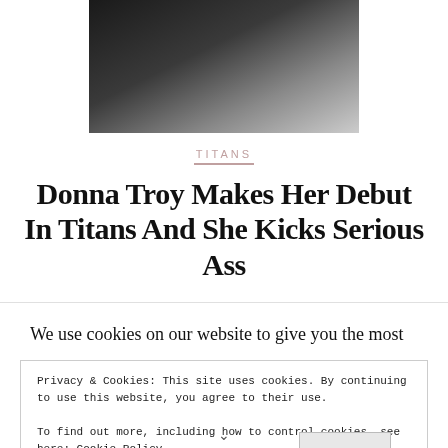[Figure (photo): Black and white photo of a person, partially cropped, dark clothing visible against a light background]
TITANS
Donna Troy Makes Her Debut In Titans And She Kicks Serious Ass
We use cookies on our website to give you the most
Privacy & Cookies: This site uses cookies. By continuing to use this website, you agree to their use. To find out more, including how to control cookies, see here: Cookie Policy